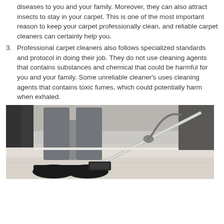diseases to you and your family. Moreover, they can also attract insects to stay in your carpet. This is one of the most important reason to keep your carpet professionally clean, and reliable carpet cleaners can certainly help you.
3. Professional carpet cleaners also follows specialized standards and protocol in doing their job. They do not use cleaning agents that contains substances and chemical that could be harmful for you and your family. Some unreliable cleaner's uses cleaning agents that contains toxic fumes, which could potentially harm when exhaled.
[Figure (photo): A person's legs in grey pants and black work boots using a carpet cleaning wand/tool on a light-colored carpet. Cleaning equipment visible in background.]